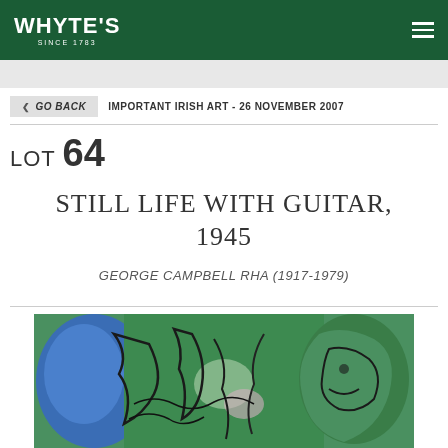WHYTE'S SINCE 1783
GO BACK   IMPORTANT IRISH ART - 26 NOVEMBER 2007
LOT 64
STILL LIFE WITH GUITAR, 1945
GEORGE CAMPBELL RHA (1917-1979)
[Figure (photo): Partial view of a colourful painting showing abstract figures in blue and green tones with dark outlines, Still Life with Guitar by George Campbell RHA, 1945]